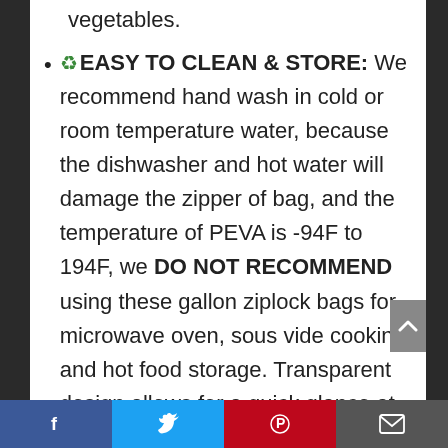vegetables.
♻EASY TO CLEAN & STORE: We recommend hand wash in cold or room temperature water, because the dishwasher and hot water will damage the zipper of bag, and the temperature of PEVA is -94F to 194F, we DO NOT RECOMMEND using these gallon ziplock bags for microwave oven, sous vide cooking, and hot food storage. Transparent design allows for a quick glance at contents inside, easy and convenient to store food, toys, and ect.
Facebook | Twitter | Pinterest | Email